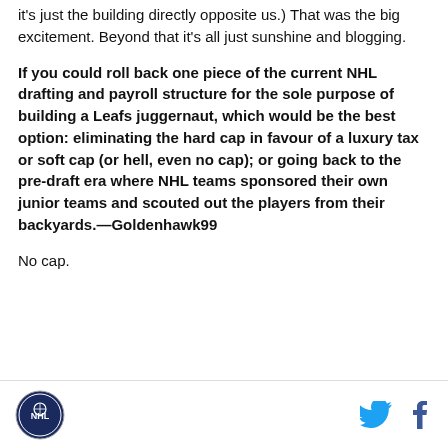it's just the building directly opposite us.) That was the big excitement. Beyond that it's all just sunshine and blogging.
If you could roll back one piece of the current NHL drafting and payroll structure for the sole purpose of building a Leafs juggernaut, which would be the best option: eliminating the hard cap in favour of a luxury tax or soft cap (or hell, even no cap); or going back to the pre-draft era where NHL teams sponsored their own junior teams and scouted out the players from their backyards.—Goldenhawk99
No cap.
[logo] [twitter icon] [facebook icon]